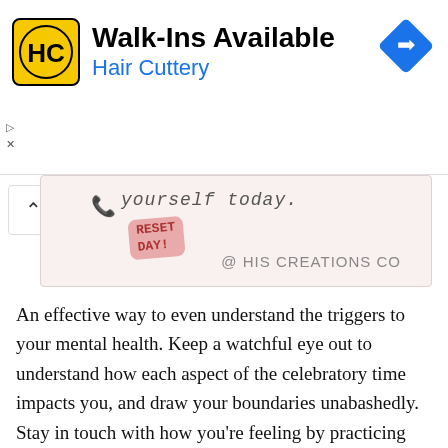[Figure (screenshot): Hair Cuttery advertisement banner with yellow HC logo, 'Walk-Ins Available' title, 'Hair Cuttery' subtitle in blue, and a blue diamond navigation arrow icon. Small ad disclosure controls on the left.]
[Figure (screenshot): Partial social media image card with handwritten-style text 'yourself today.' and a pink 'RESET DAY!' label sticker, with '@ HIS CREATIONS CO' watermark text. An up-arrow collapse button on the left.]
An effective way to even understand the triggers to your mental health. Keep a watchful eye out to understand how each aspect of the celebratory time impacts you, and draw your boundaries unabashedly. Stay in touch with how you’re feeling by practicing mindfulness. You can alter your whole mood by exiting the uncomfortable space, and creating a safe one.